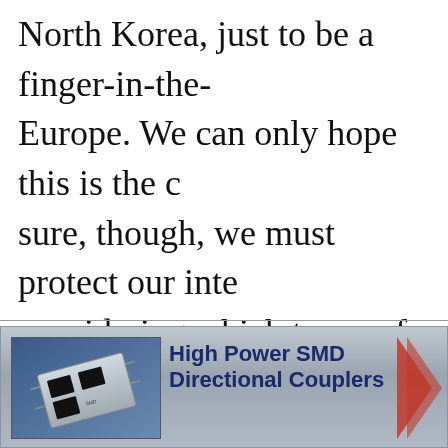North Korea, just to be a finger-in-the-eye to Europe. We can only hope this is the case. To be sure, though, we must protect our interests by considering which types of technology we hand over. After all, you would never hand a mean-looking stranger a loaded gun.
[Figure (infographic): Advertisement banner for High Power SMD Directional Couplers. Shows a product image of an electronic component on the left, and bold dark blue text on the right reading 'High Power SMD Directional Couplers' with a company logo partially visible on the right edge.]